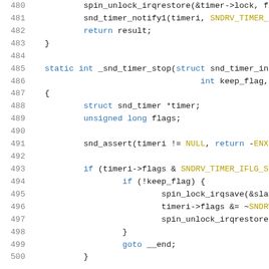[Figure (screenshot): Source code listing (C) showing lines 480-500 of a Linux kernel timer driver, with syntax highlighting. Lines show spin_unlock_irqrestore, snd_timer_notify1, return result, closing brace, blank line, static int _snd_timer_stop function declaration, struct snd_timer *timer, unsigned long flags, snd_assert, if block with timeri->flags & SNDRV_TIMER_IFLG_SL check, if (!keep_flag) block with spin_lock_irqsave, timeri->flags &= ~SNDRV, spin_unlock_irqrestore, closing braces, goto __end, and closing brace.]